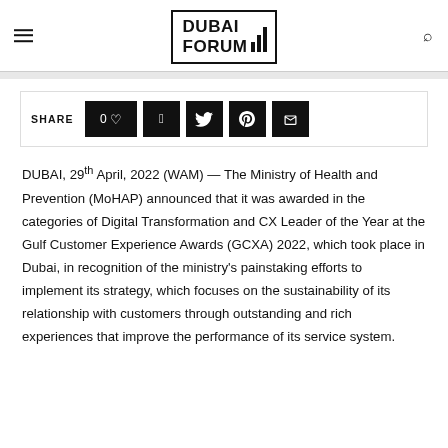DUBAI FORUM
[Figure (logo): Dubai Forum logo with text 'DUBAI FORUM' in a bordered box with bar chart icon]
SHARE  0 ♡  f  Twitter  Pinterest  Email
DUBAI, 29th April, 2022 (WAM) — The Ministry of Health and Prevention (MoHAP) announced that it was awarded in the categories of Digital Transformation and CX Leader of the Year at the Gulf Customer Experience Awards (GCXA) 2022, which took place in Dubai, in recognition of the ministry's painstaking efforts to implement its strategy, which focuses on the sustainability of its relationship with customers through outstanding and rich experiences that improve the performance of its service system.